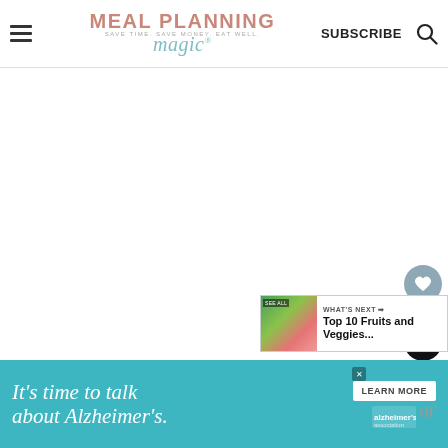MEAL PLANNING magic® — SAVE TIME. SAVE MONEY. EAT WELL. | SUBSCRIBE
[Figure (screenshot): Blank white main content area of a food blog website]
[Figure (infographic): Floating social share buttons: heart icon (like), count badge showing 72, share icon]
[Figure (infographic): What's Next widget showing Top 10 Fruits and Veggies...]
[Figure (infographic): Advertisement banner: It's time to talk about Alzheimer's. LEARN MORE button. Alzheimer's Association logo.]